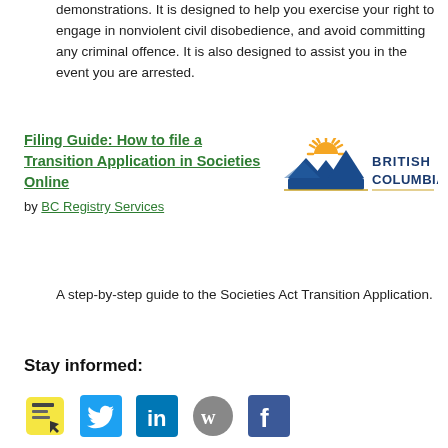demonstrations. It is designed to help you exercise your right to engage in nonviolent civil disobedience, and avoid committing any criminal offence. It is also designed to assist you in the event you are arrested.
Filing Guide: How to file a Transition Application in Societies Online
by BC Registry Services
[Figure (logo): British Columbia government logo with mountain and sun graphic and text 'BRITISH COLUMBIA']
A step-by-step guide to the Societies Act Transition Application.
Stay informed:
[Figure (infographic): Row of social media icons: Zotero (yellow sticky note with cursor), Twitter (blue bird), LinkedIn (blue square with 'in'), Wordpress (gray circle with 'w'), Facebook (blue square with 'f')]